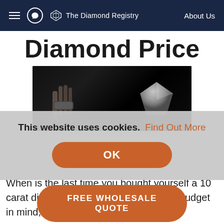The Diamond Registry | About Us
Diamond Price
[Figure (photo): A diamond being held by tweezers against a dark background]
This website uses cookies. Find Out More
OK
When is the last time you bought yourself a 10 carat diamond? You most likely have a budget in mind, and your ..., and most be...
FREE WHOLESALE QUOTE